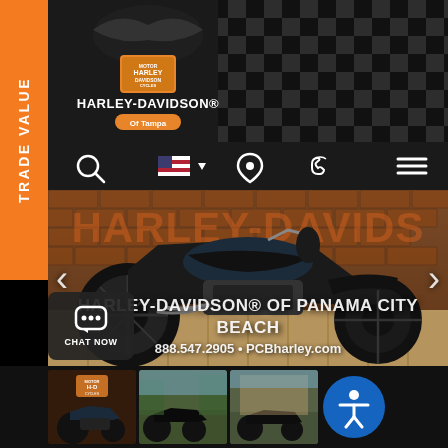TRADE VALUE
[Figure (logo): Harley-Davidson of Tampa logo with eagle emblem on dark checkered background]
[Figure (screenshot): Navigation bar with search icon, US flag/language selector, location pin, phone icon, and hamburger menu on dark background]
[Figure (photo): Black Harley-Davidson trike/three-wheel motorcycle displayed in showroom with brick wall background showing HARLEY-DAVIDSON MOTORCYCLES branding]
HARLEY-DAVIDSON® OF PANAMA CITY BEACH
888.547.2905 • PCBharley.com
[Figure (photo): Thumbnail 1: Harley-Davidson motorcycle in showroom]
[Figure (photo): Thumbnail 2: Black trike motorcycle outdoors]
[Figure (photo): Thumbnail 3: Black trike motorcycle outdoors wider shot]
CHAT NOW